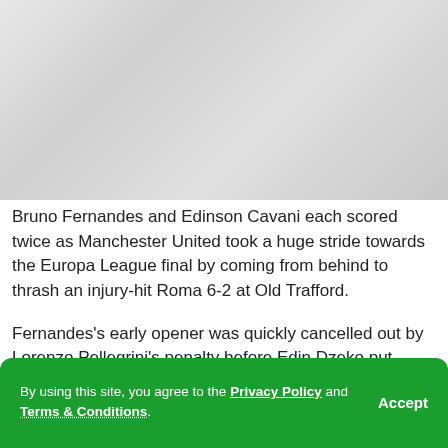[Figure (photo): Faded/blurred photograph, likely of a football match or players, shown in muted grays]
Bruno Fernandes and Edinson Cavani each scored twice as Manchester United took a huge stride towards the Europa League final by coming from behind to thrash an injury-hit Roma 6-2 at Old Trafford.
Fernandes's early opener was quickly cancelled out by Lorenzo Pellegrini's penalty before Edin Dzeko put Roma in
By using this site, you agree to the Privacy Policy and Terms & Conditions.